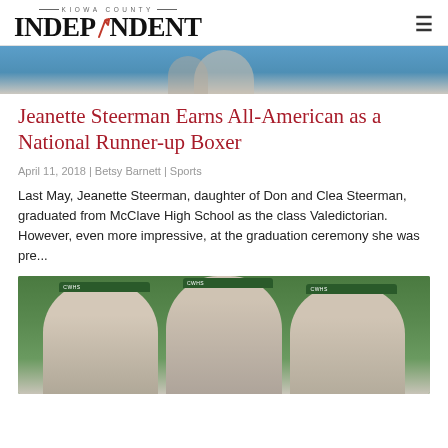KIOWA COUNTY INDEPENDENT
[Figure (photo): Top portion of a sports photo with blue background]
Jeanette Steerman Earns All-American as a National Runner-up Boxer
April 11, 2018 | Betsy Barnett | Sports
Last May, Jeanette Steerman, daughter of Don and Clea Steerman, graduated from McClave High School as the class Valedictorian.  However, even more impressive, at the graduation ceremony she was pre...
[Figure (photo): Three young women wearing CWHS caps smiling outdoors in front of bushes]